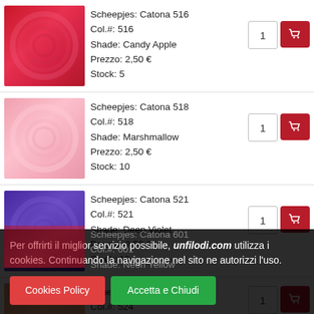Scheepjes: Catona 516
Col.#: 516
Shade: Candy Apple
Prezzo: 2,50 €
Stock: 5
Scheepjes: Catona 518
Col.#: 518
Shade: Marshmallow
Prezzo: 2,50 €
Stock: 10
Scheepjes: Catona 521
Col.#: 521
Shade: Deep Violet
Prezzo: 2,50 €
Stock: 10
Scheepjes: Catona 524
Col.#: 524
Shade: Apricot
Prezzo: 2,50 €
Scheepjes: Catona 601
Col.#: 601
Shade: Neon Yellow
Per offrirti il miglior servizio possibile, unfilodi.com utilizza i cookies. Continuando la navigazione nel sito ne autorizzi l'uso.
Cookies Policy
Accetta e Chiudi